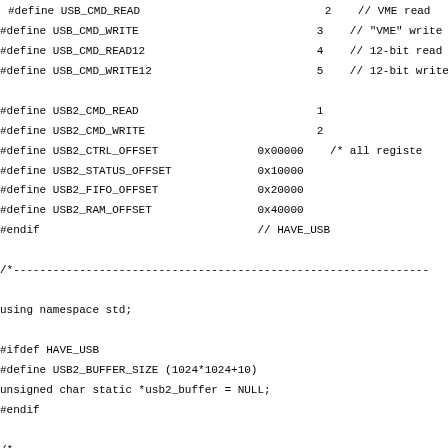#define USB_CMD_READ				2	// VME read
#define USB_CMD_WRITE				3	// "VME" write
#define USB_CMD_READ12				4	// 12-bit read
#define USB_CMD_WRITE12				5	// 12-bit write

#define USB2_CMD_READ				1
#define USB2_CMD_WRITE				2
#define USB2_CTRL_OFFSET			0x00000	/* all registers
#define USB2_STATUS_OFFSET			0x10000
#define USB2_FIFO_OFFSET			0x20000
#define USB2_RAM_OFFSET				0x40000
#endif					// HAVE_USB

/*-----------------------------------------------------------------

using namespace std;

#ifdef HAVE_USB
#define USB2_BUFFER_SIZE (1024*1024+10)
unsigned char static *usb2_buffer = NULL;
#endif

/*-----------------------------------------------------------------

DRS::DRS()
:  fNumberOfBoards(0)
#ifdef HAVE_VME
   , fVmeInterface(0)
#endif
{
#ifdef HAVE_USB
   MUSB_INTERFACE *usb_interface;
#endif